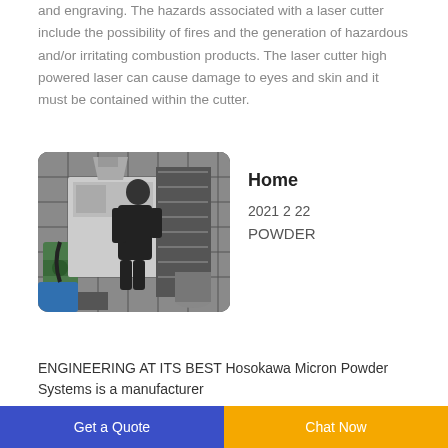and engraving. The hazards associated with a laser cutter include the possibility of fires and the generation of hazardous and/or irritating combustion products. The laser cutter high powered laser can cause damage to eyes and skin and it must be contained within the cutter.
[Figure (photo): Industrial powder processing machinery in a factory setting with workers operating equipment]
Home
2021 2 22
POWDER
ENGINEERING AT ITS BEST Hosokawa Micron Powder Systems is a manufacturer ...
Get a Quote   Chat Now